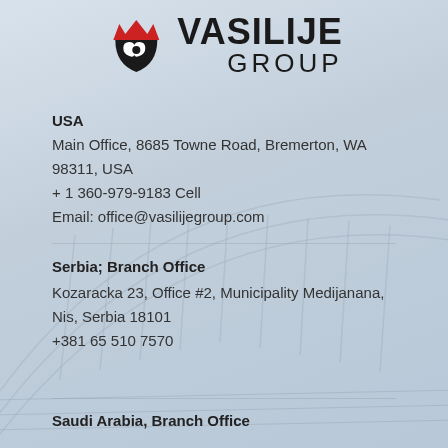[Figure (logo): Vasilije Group logo with crown and shield/mustache icon in dark and red]
USA
Main Office, 8685 Towne Road, Bremerton, WA
98311, USA
+ 1 360-979-9183 Cell
Email: office@vasilijegroup.com
Serbia; Branch Office
Kozaracka 23, Office #2, Municipality Medijanana,
Nis, Serbia 18101
+381 65 510 7570
Saudi Arabia, Branch Office